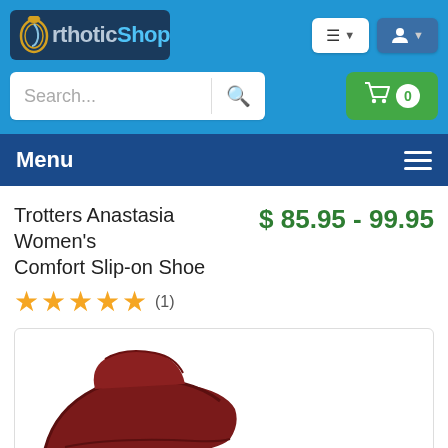[Figure (screenshot): OrthoticShop website header with logo, navigation menu button, user button, search bar, cart button showing 0 items, and a dark blue Menu bar with hamburger icon.]
Trotters Anastasia Women's Comfort Slip-on Shoe
$ 85.95 - 99.95
★★★★★ (1)
[Figure (photo): Partial view of a dark red/burgundy slip-on shoe from Trotters Anastasia collection.]